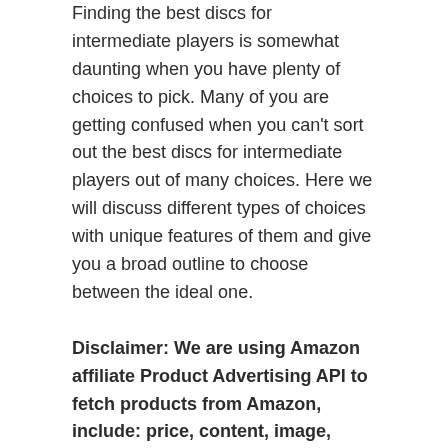Finding the best discs for intermediate players is somewhat daunting when you have plenty of choices to pick. Many of you are getting confused when you can't sort out the best discs for intermediate players out of many choices. Here we will discuss different types of choices with unique features of them and give you a broad outline to choose between the ideal one.
Disclaimer: We are using Amazon affiliate Product Advertising API to fetch products from Amazon, include: price, content, image, logo, brand, feature of products which are trademarks of Amazon.com. So, when you buy through links on our site, we may earn an affiliate commission at no extra cost to you. Read more